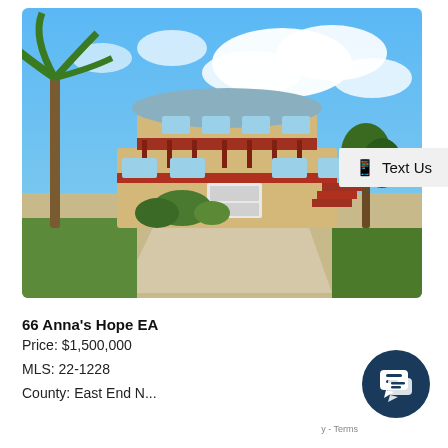[Figure (photo): Exterior photo of a two-story Caribbean-style house with red balcony railings, a garage, large driveway, palm trees, and a bright blue sky with white clouds.]
Text Us
66 Anna's Hope EA
Price: $1,500,000
MLS: 22-1228
[Figure (illustration): Dark navy circular chat icon button with speech bubble icon.]
- Terms